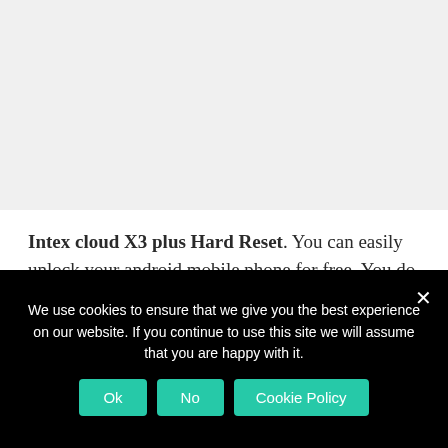Intex cloud X3 plus Hard Reset. You can easily unlock your android mobile phone for free. You do not need any software knowledge. Here we are also provide password recovery with android tools & drivers and With your Google account etc. Please note that Hard
We use cookies to ensure that we give you the best experience on our website. If you continue to use this site we will assume that you are happy with it.